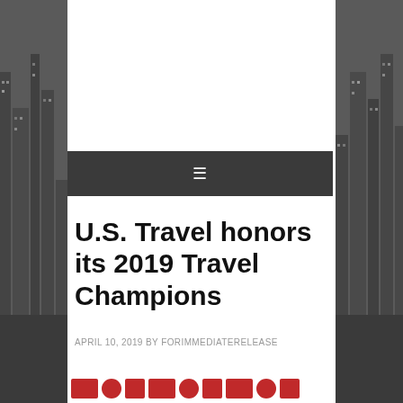[Figure (photo): Dark city skyline background visible on left and right sides of the page behind the white content column]
☰
U.S. Travel honors its 2019 Travel Champions
APRIL 10, 2019 BY FORIMMEDIATERELEASE
[Figure (logo): Row of partially visible red logos/icons at the bottom of the page]